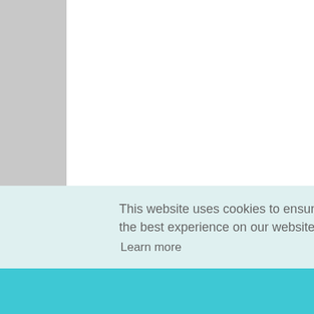You blo http Tha ap_
Rep
17.
My ser
http
Rep
18.
tha into
http
This website uses cookies to ensure you get the best experience on our website.
Learn more
Got it!